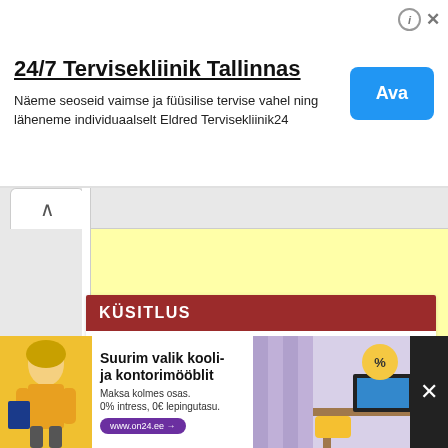24/7 Tervisekliinik Tallinnas
Näeme seoseid vaimse ja füüsilise tervise vahel ning läheneme individuaalselt Eldred Tervisekliinik24
Ava
KÜSITLUS
Kui kellakeeramine lõppeb, kas eelistad püsivat suve- või talveaega?
Suurim valik kooli- ja kontorimööblit
Maksa kolmes osas. 0% intress, 0€ lepingutasu.
www.on24.ee